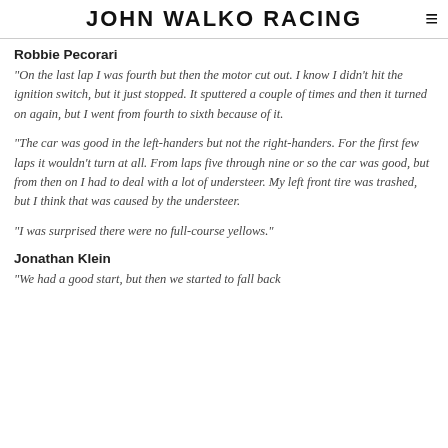JOHN WALKO RACING
Robbie Pecorari
"On the last lap I was fourth but then the motor cut out. I know I didn't hit the ignition switch, but it just stopped. It sputtered a couple of times and then it turned on again, but I went from fourth to sixth because of it.
"The car was good in the left-handers but not the right-handers. For the first few laps it wouldn't turn at all. From laps five through nine or so the car was good, but from then on I had to deal with a lot of understeer. My left front tire was trashed, but I think that was caused by the understeer.
"I was surprised there were no full-course yellows."
Jonathan Klein
"We had a good start, but then we started to fall back